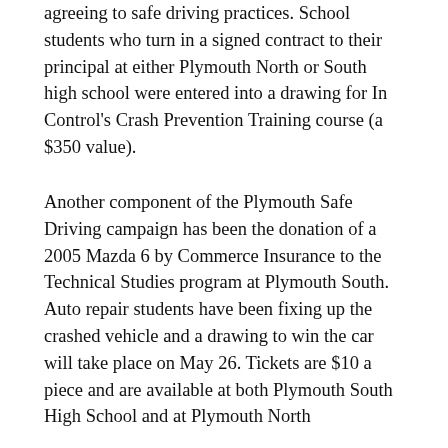agreeing to safe driving practices. School students who turn in a signed contract to their principal at either Plymouth North or South high school were entered into a drawing for In Control's Crash Prevention Training course (a $350 value).
Another component of the Plymouth Safe Driving campaign has been the donation of a 2005 Mazda 6 by Commerce Insurance to the Technical Studies program at Plymouth South. Auto repair students have been fixing up the crashed vehicle and a drawing to win the car will take place on May 26. Tickets are $10 a piece and are available at both Plymouth South High School and at Plymouth North